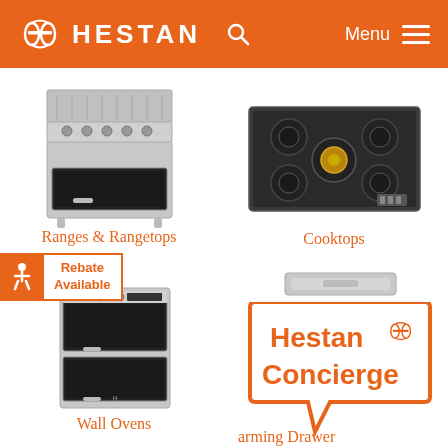HESTAN — Menu
[Figure (photo): Hestan range/freestanding stove in stainless steel]
Ranges & Rangetops
[Figure (photo): Hestan cooktop (gas, stainless steel, 5 burners)]
Cooktops
[Figure (infographic): Rebate Available badge with accessibility icon]
[Figure (photo): Hestan double wall oven in stainless steel]
Wall Ovens
[Figure (illustration): Hestan Concierge speech bubble logo with warming drawer product image]
arming Drawer